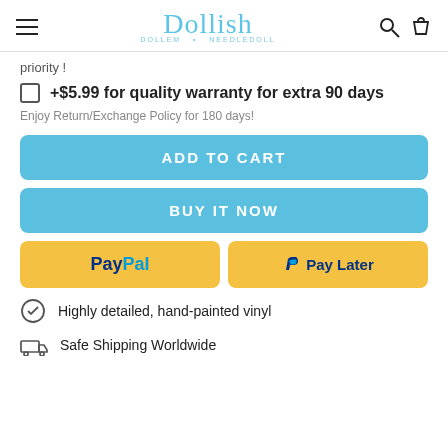Dollish - navigation header with hamburger menu, logo, search and cart icons
priority !
+$5.99 for quality warranty for extra 90 days
Enjoy Return/Exchange Policy for 180 days!
ADD TO CART
BUY IT NOW
PayPal
Pay Later
Highly detailed, hand-painted vinyl
Safe Shipping Worldwide